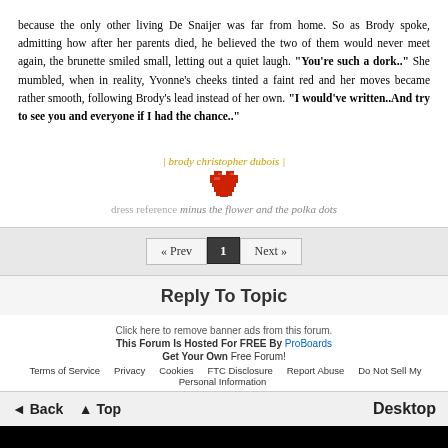because the only other living De Snaijer was far from home. So as Brody spoke, admitting how after her parents died, he believed the two of them would never meet again, the brunette smiled small, letting out a quiet laugh. "You're such a dork.." She mumbled, when in reality, Yvonne's cheeks tinted a faint red and her moves became rather smooth, following Brody's lead instead of her own. "I would've written..And try to see you and everyone if I had the chance.."
| brody christopher dubois |
[Figure (other): Red pixel heart emoji]
dress reference minus the flower and the polka dots
« Prev  1  Next »
Reply To Topic
Click here to remove banner ads from this forum.
This Forum Is Hosted For FREE By ProBoards
Get Your Own Free Forum!
Terms of Service  Privacy  Cookies  FTC Disclosure  Report Abuse  Do Not Sell My Personal Information
◄ Back  ▲ Top  Desktop